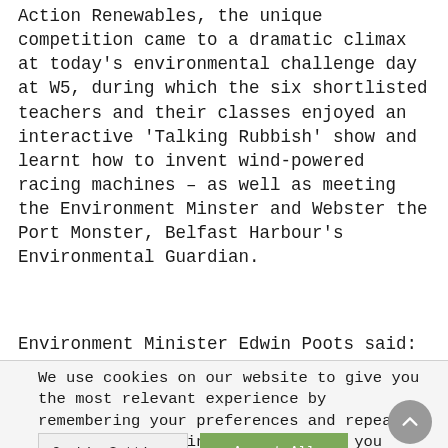Action Renewables, the unique competition came to a dramatic climax at today's environmental challenge day at W5, during which the six shortlisted teachers and their classes enjoyed an interactive 'Talking Rubbish' show and learnt how to invent wind-powered racing machines – as well as meeting the Environment Minster and Webster the Port Monster, Belfast Harbour's Environmental Guardian.
Environment Minister Edwin Poots said:
We use cookies on our website to give you the most relevant experience by remembering your preferences and repeat visits. By clicking "Accept All", you consent to the use of ALL the cookies. However, you may visit "Cookie Settings" to provide a controlled consent.